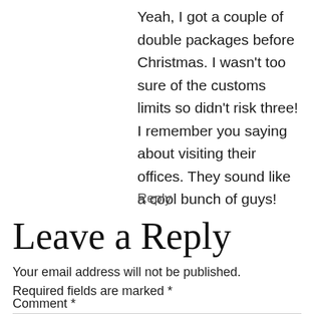Yeah, I got a couple of double packages before Christmas. I wasn't too sure of the customs limits so didn't risk three! I remember you saying about visiting their offices. They sound like a cool bunch of guys!
Reply
Leave a Reply
Your email address will not be published. Required fields are marked *
Comment *